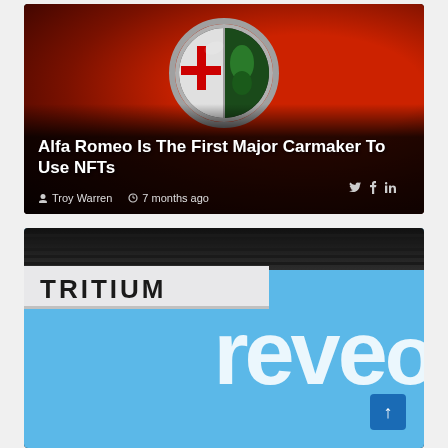[Figure (photo): Alfa Romeo logo close-up on red car hood, with article title overlay 'Alfa Romeo Is The First Major Carmaker To Use NFTs', byline 'Troy Warren', timestamp '7 months ago', and social share icons for Twitter, Facebook, LinkedIn]
[Figure (photo): Tritium EV charging station sign and canopy against blue sky, with partial 'reevo' branding visible on blue wall, and a blue scroll-to-top button in lower right]